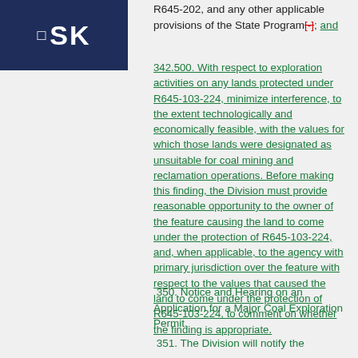SK
R645-202, and any other applicable provisions of the State Program[-]; and
342.500. With respect to exploration activities on any lands protected under R645-103-224, minimize interference, to the extent technologically and economically feasible, with the values for which those lands were designated as unsuitable for coal mining and reclamation operations. Before making this finding, the Division must provide reasonable opportunity to the owner of the feature causing the land to come under the protection of R645-103-224, and, when applicable, to the agency with primary jurisdiction over the feature with respect to the values that caused the land to come under the protection of R645-103-224, to comment on whether the finding is appropriate.
350. Notice and Hearing on an Application for a Major Coal Exploration Permit.
351. The Division will notify the